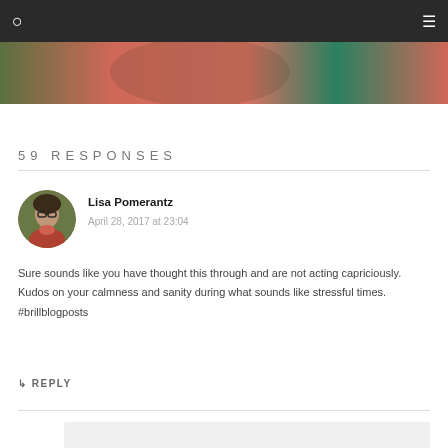[Figure (photo): Partial photo showing a person in a salmon/coral colored jacket with green leaves in background]
59 RESPONSES
Lisa Pomerantz
April 28, 2017 at 23:04
Sure sounds like you have thought this through and are not acting capriciously. Kudos on your calmness and sanity during what sounds like stressful times. #brillblogposts
↳ REPLY